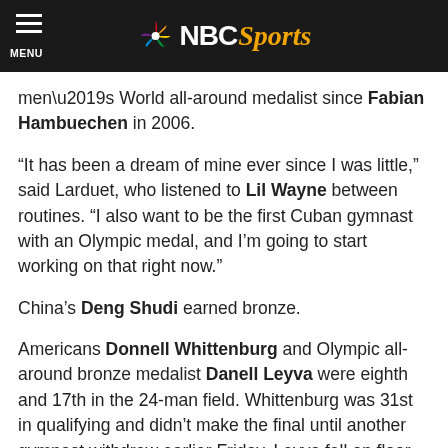NBC Sports
men’s World all-around medalist since Fabian Hambuechen in 2006.
“It has been a dream of mine ever since I was little,” said Larduet, who listened to Lil Wayne between routines. “I also want to be the first Cuban gymnast with an Olympic medal, and I’m going to start working on that right now.”
China’s Deng Shudi earned bronze.
Americans Donnell Whittenburg and Olympic all-around bronze medalist Danell Leyva were eighth and 17th in the 24-man field. Whittenburg was 31st in qualifying and didn’t make the final until another gymnast withdrew earlier Friday. Leyva fell on floor exercise and high bar and nearly fell off pommel horse.
Uchimura’s closest margin of victory among his other